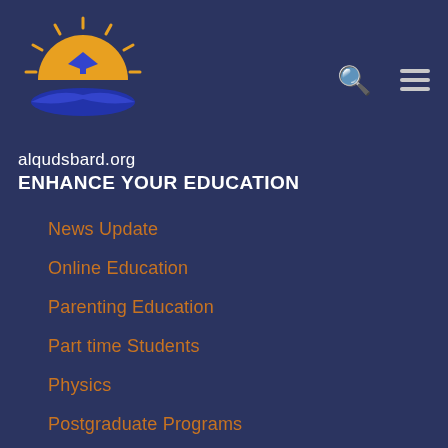[Figure (logo): alqudsbard.org logo with sun/book illustration in orange and blue]
alqudsbard.org
ENHANCE YOUR EDUCATION
News Update
Online Education
Parenting Education
Part time Students
Physics
Postgraduate Programs
Preschool Education
Private Teacher
Scholarships
Toddler Education
Vocational School